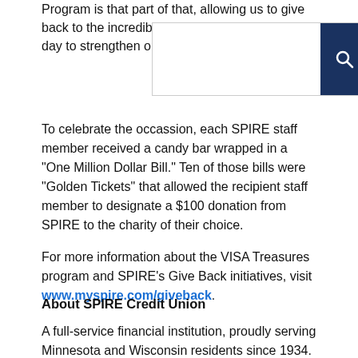Program is that part of that, allowing us to give back to the incredible c[...] every day to strengthen our communiti[...]
[Figure (screenshot): Search bar overlay with a dark blue search button containing a magnifying glass icon]
To celebrate the occassion, each SPIRE staff member received a candy bar wrapped in a "One Million Dollar Bill." Ten of those bills were "Golden Tickets" that allowed the recipient staff member to designate a $100 donation from SPIRE to the charity of their choice.
For more information about the VISA Treasures program and SPIRE's Give Back initiatives, visit www.myspire.com/giveback.
About SPIRE Credit Union
A full-service financial institution, proudly serving Minnesota and Wisconsin residents since 1934. SPIRE is committed to providing smart products, great rates and excellent service with a goal to improve the financial lives for both personal and business members. SPIRE has 21 branches throughout Minnesota.  To learn more about SPIRE, please visit www.myspire.com